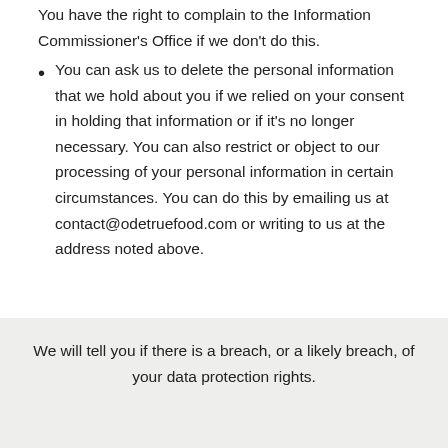You have the right to complain to the Information Commissioner's Office if we don't do this.
You can ask us to delete the personal information that we hold about you if we relied on your consent in holding that information or if it's no longer necessary. You can also restrict or object to our processing of your personal information in certain circumstances. You can do this by emailing us at contact@odetruefood.com or writing to us at the address noted above.
We will tell you if there is a breach, or a likely breach, of your data protection rights.